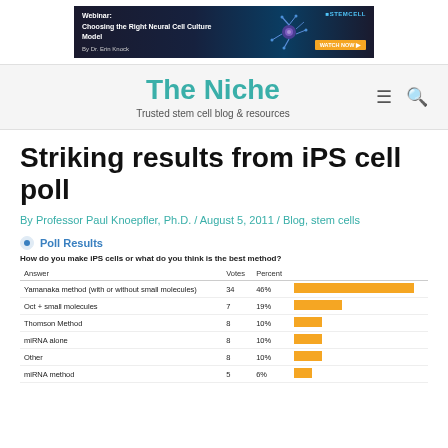[Figure (screenshot): Banner advertisement: Webinar: Choosing the Right Neural Cell Culture Model by Dr. Erin Knock. StemCell Technologies logo with Watch Now button.]
The Niche — Trusted stem cell blog & resources
Striking results from iPS cell poll
By Professor Paul Knoepfler, Ph.D. / August 5, 2011 / Blog, stem cells
| Answer | Votes | Percent |
| --- | --- | --- |
| Yamanaka method (with or without small molecules) | 34 | 46% |
| Oct + small molecules | 7 | 19% |
| Thomson Method | 8 | 10% |
| miRNA alone | 8 | 10% |
| Other | 8 | 10% |
| miRNA method | 5 | 6% |